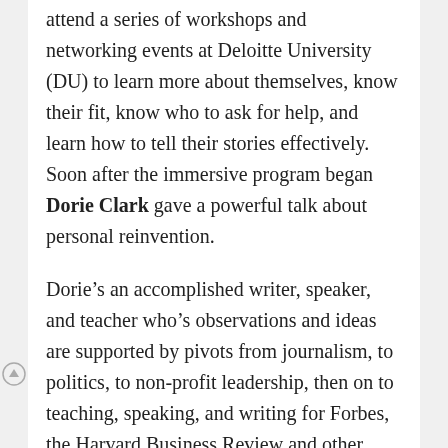attend a series of workshops and networking events at Deloitte University (DU) to learn more about themselves, know their fit, know who to ask for help, and learn how to tell their stories effectively. Soon after the immersive program began Dorie Clark gave a powerful talk about personal reinvention.
Dorie’s an accomplished writer, speaker, and teacher who’s observations and ideas are supported by pivots from journalism, to politics, to non-profit leadership, then on to teaching, speaking, and writing for Forbes, the Harvard Business Review and other